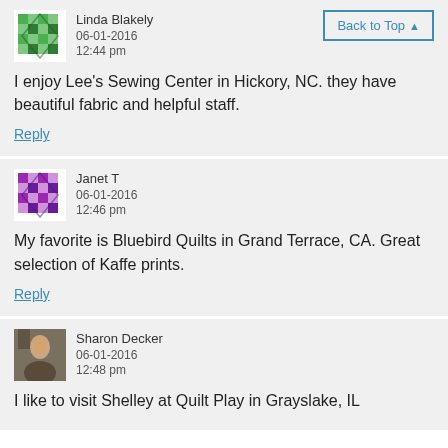Linda Blakely
06-01-2016
12:44 pm
I enjoy Lee's Sewing Center in Hickory, NC. they have beautiful fabric and helpful staff.
Reply
Janet T
06-01-2016
12:46 pm
My favorite is Bluebird Quilts in Grand Terrace, CA. Great selection of Kaffe prints.
Reply
Sharon Decker
06-01-2016
12:48 pm
I like to visit Shelley at Quilt Play in Grayslake, IL